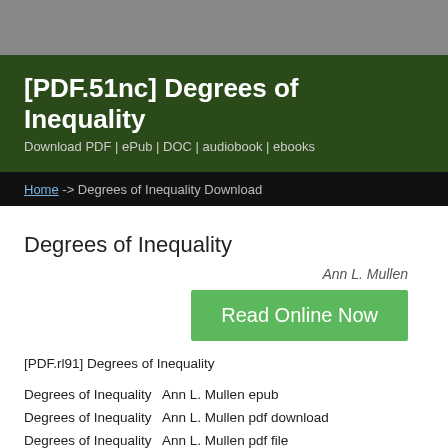[PDF.51nc] Degrees of Inequality
Download PDF | ePub | DOC | audiobook | ebooks
Home -> Degrees of Inequality Download
Degrees of Inequality
Ann L. Mullen
[Figure (illustration): Small book cover thumbnail image placeholder]
Read Online Now
[PDF.rl91] Degrees of Inequality
Degrees of Inequality   Ann L. Mullen epub
Degrees of Inequality   Ann L. Mullen pdf download
Degrees of Inequality   Ann L. Mullen pdf file